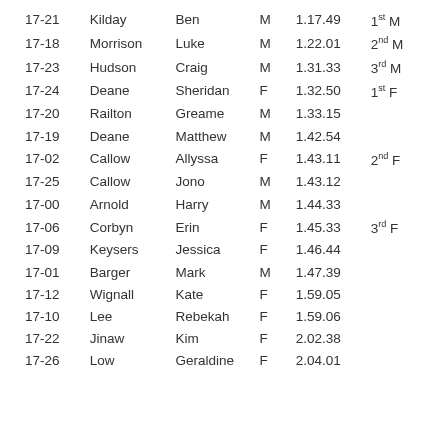| ID | Surname | First | Gender | Time | Place |
| --- | --- | --- | --- | --- | --- |
| 17-21 | Kilday | Ben | M | 1.17.49 | 1st M |
| 17-18 | Morrison | Luke | M | 1.22.01 | 2nd M |
| 17-23 | Hudson | Craig | M | 1.31.33 | 3rd M |
| 17-24 | Deane | Sheridan | F | 1.32.50 | 1st F |
| 17-20 | Railton | Greame | M | 1.33.15 |  |
| 17-19 | Deane | Matthew | M | 1.42.54 |  |
| 17-02 | Callow | Allyssa | F | 1.43.11 | 2nd F |
| 17-25 | Callow | Jono | M | 1.43.12 |  |
| 17-00 | Arnold | Harry | M | 1.44.33 |  |
| 17-06 | Corbyn | Erin | F | 1.45.33 | 3rd F |
| 17-09 | Keysers | Jessica | F | 1.46.44 |  |
| 17-01 | Barger | Mark | M | 1.47.39 |  |
| 17-12 | Wignall | Kate | F | 1.59.05 |  |
| 17-10 | Lee | Rebekah | F | 1.59.06 |  |
| 17-22 | Jinaw | Kim | F | 2.02.38 |  |
| 17-26 | Low | Geraldine | F | 2.04.01 |  |